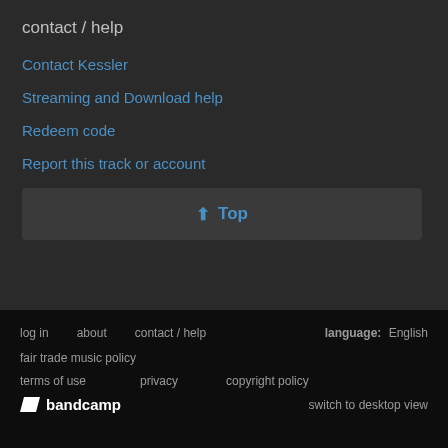contact / help
Contact Kessler
Streaming and Download help
Redeem code
Report this track or account
⬆ Top
log in   about   contact / help   language: English
fair trade music policy
terms of use   privacy   copyright policy
bandcamp   switch to desktop view